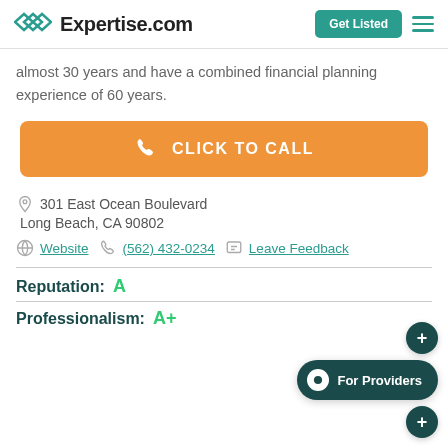Expertise.com
almost 30 years and have a combined financial planning experience of 60 years.
[Figure (other): Orange 'CLICK TO CALL' button with phone icon]
301 East Ocean Boulevard
Long Beach, CA 90802
Website  (562) 432-0234  Leave Feedback
Reputation: A
Professionalism: A+